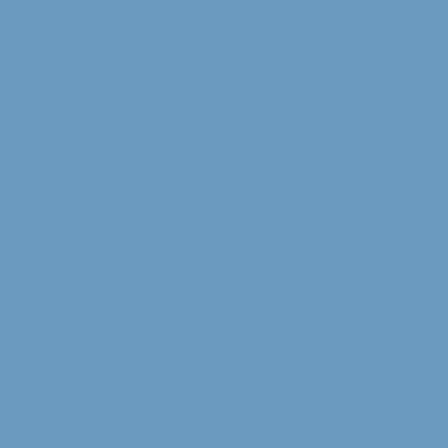https://www.governing.c... design-of-our-cities-mak...
Nebraska wants to take water fro... to create a large lake
https://www.ketv.com/ar... colorado-canal-get-initia... lawmakers/39388866#
$83M settlement proposed for Fl... condominium collapse lawsuit
https://apnews.com/arti... surfside-building-collap... 2487324356a6f749084e8...
USDA report on conservation tre...
https://www.nrcs.usda.g... cid=NRCSEPRD189102...
Report: